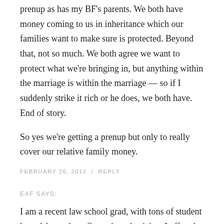prenup as has my BF's parents. We both have money coming to us in inheritance which our families want to make sure is protected. Beyond that, not so much. We both agree we want to protect what we're bringing in, but anything within the marriage is within the marriage — so if I suddenly strike it rich or he does, we both have. End of story.
So yes we're getting a prenup but only to really cover our relative family money.
FEBRUARY 26, 2012  /  REPLY
EAF SAYS:
I am a recent law school grad, with tons of student loan debt, and my fiance is a physician. I offered to sign a prenup, since I feel like they are generally good ideas, and my fiance doesn't want one… even though his assets would far, far outnumber